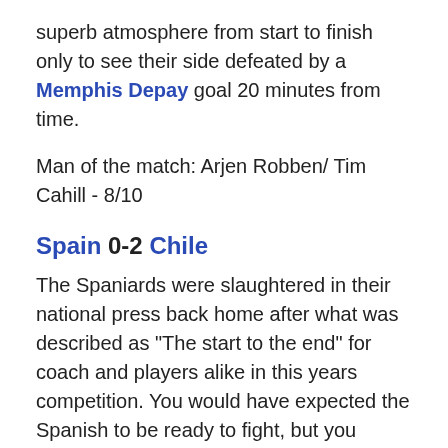superb atmosphere from start to finish only to see their side defeated by a Memphis Depay goal 20 minutes from time.
Man of the match: Arjen Robben/ Tim Cahill - 8/10
Spain 0-2 Chile
The Spaniards were slaughtered in their national press back home after what was described as "The start to the end" for coach and players alike in this years competition. You would have expected the Spanish to be ready to fight, but you couldn't be further from the truth. The players of Spain looked to have accepted that they have had their time and the need to defend their title is none existent. Chile took full advantage of this lazy attitude as Casillas made a 2nd mistake in 2 games to send his team 1-0 down as Vargas fired the